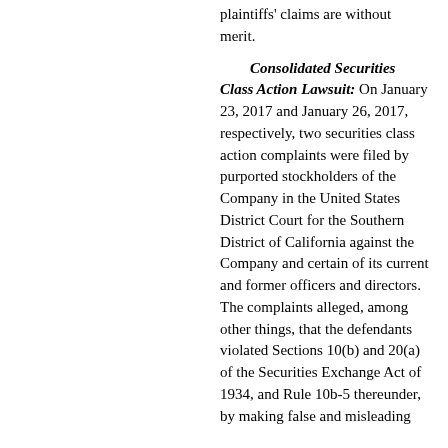plaintiffs' claims are without merit.
Consolidated Securities Class Action Lawsuit: On January 23, 2017 and January 26, 2017, respectively, two securities class action complaints were filed by purported stockholders of the Company in the United States District Court for the Southern District of California against the Company and certain of its current and former officers and directors. The complaints alleged, among other things, that the defendants violated Sections 10(b) and 20(a) of the Securities Exchange Act of 1934, and Rule 10b-5 thereunder, by making false and misleading